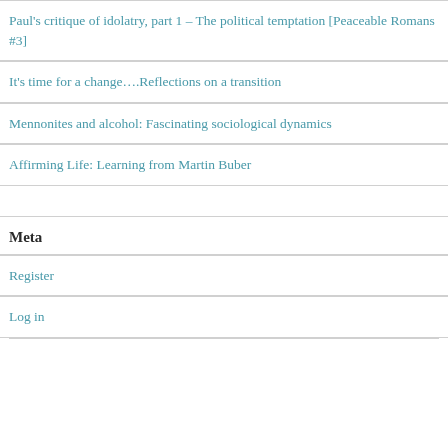Paul's critique of idolatry, part 1 – The political temptation [Peaceable Romans #3]
It's time for a change….Reflections on a transition
Mennonites and alcohol: Fascinating sociological dynamics
Affirming Life: Learning from Martin Buber
Meta
Register
Log in